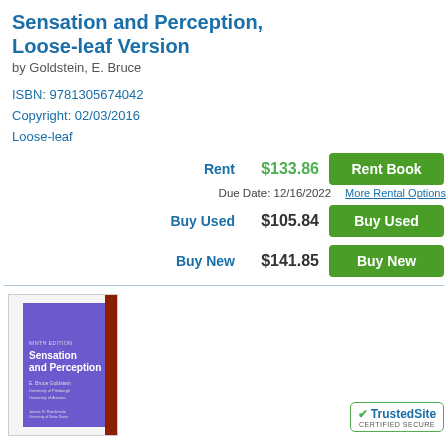Sensation and Perception, Loose-leaf Version
by Goldstein, E. Bruce
ISBN: 9781305674042
Copyright: 02/03/2016
Loose-leaf
| Option | Price | Action |
| --- | --- | --- |
| Rent | $133.86 | Rent Book |
| Due Date: 12/16/2022 |  | More Rental Options |
| Buy Used | $105.84 | Buy Used |
| Buy New | $141.85 | Buy New |
[Figure (photo): Book cover of Sensation and Perception by E. Bruce Goldstein, showing purple cover with red spine strip]
[Figure (logo): TrustedSite CERTIFIED SECURE badge with green checkmark]